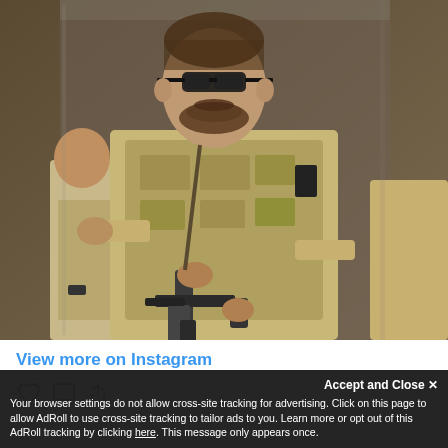[Figure (photo): A bearded man wearing sunglasses and desert camouflage tactical gear, holding a rifle, seated between two other individuals in military attire. Background appears to be a military vehicle.]
View more on Instagram
Accept and Close ✕
Your browser settings do not allow cross-site tracking for advertising. Click on this page to allow AdRoll to use cross-site tracking to tailor ads to you. Learn more or opt out of this AdRoll tracking by clicking here. This message only appears once.